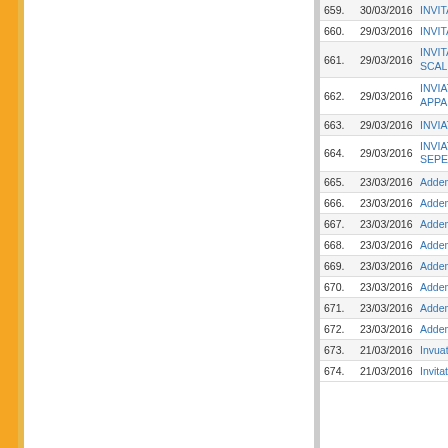| No. | Date | Title |
| --- | --- | --- |
| 659. | 30/03/2016 | INVITATION... |
| 660. | 29/03/2016 | INVITATION... |
| 661. | 29/03/2016 | INVITATION... SCALE FER... |
| 662. | 29/03/2016 | INVIATION L... APPARATUS... |
| 663. | 29/03/2016 | INVIATION F... |
| 664. | 29/03/2016 | INVIATATION... SEPERATO... |
| 665. | 23/03/2016 | Addendum i... |
| 666. | 23/03/2016 | Addendum fo... |
| 667. | 23/03/2016 | Addendum fo... |
| 668. | 23/03/2016 | Addendum fo... |
| 669. | 23/03/2016 | Addendum fo... |
| 670. | 23/03/2016 | Addendum fo... |
| 671. | 23/03/2016 | Addendum fo... |
| 672. | 23/03/2016 | Addendum fo... |
| 673. | 21/03/2016 | Invuation for... |
| 674. | 21/03/2016 | Invitation... |